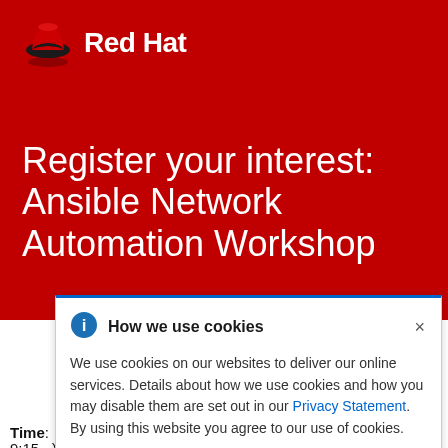[Figure (logo): Red Hat logo: stylized red fedora hat icon with shadow, followed by 'Red Hat' text in white on red background]
Register your interest: Ansible Network Automation Workshop
[Figure (screenshot): Cookie consent banner overlay with blue top border, info icon, title 'How we use cookies', close X button, body text about cookie usage and a 'Privacy Statement' hyperlink]
Time:  09:30 am to 1:00 pm (Registration starts at 9:15...)